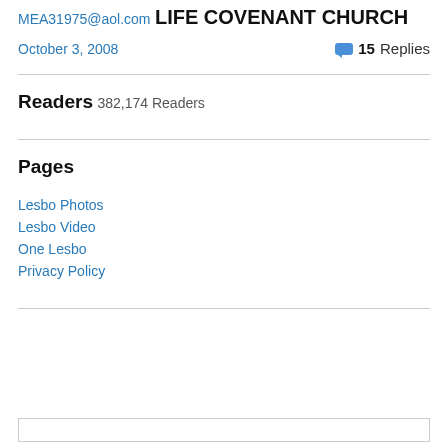MEA31975@aol.com
LIFE COVENANT CHURCH
October 3, 2008   15 Replies
Readers
382,174 Readers
Pages
Lesbo Photos
Lesbo Video
One Lesbo
Privacy Policy